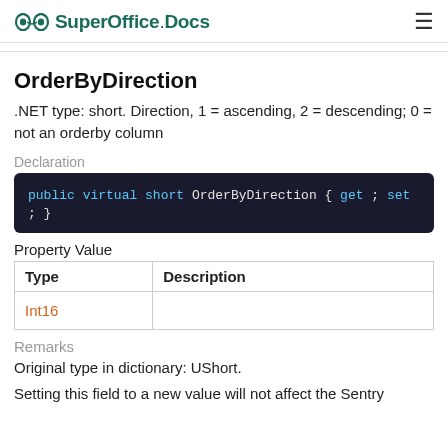SuperOffice Docs
OrderByDirection
.NET type: short. Direction, 1 = ascending, 2 = descending; 0 = not an orderby column
Declaration
public virtual short OrderByDirection { get; set; }
Property Value
| Type | Description |
| --- | --- |
| Int16 |  |
Remarks
Original type in dictionary: UShort.
Setting this field to a new value will not affect the Sentry